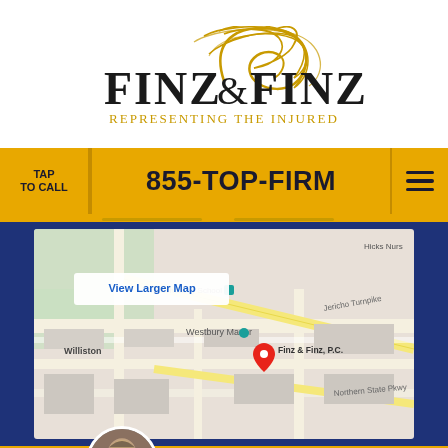[Figure (logo): Finz & Finz law firm logo with gold cursive flourish above serif text 'FINZ & FINZ' and tagline 'Representing The Injured' in gold small caps]
TAP TO CALL
855-TOP-FIRM
[Figure (map): Google Maps screenshot showing street map of Westbury/Williston area with red location pin labeled 'Finz & Finz, P.C.' and 'View Larger Map' button. Shows Jericho Turnpike, Northern State Pkwy, The Wheatley School, Westbury Manor area.]
LIVE CHAT
TEXT US